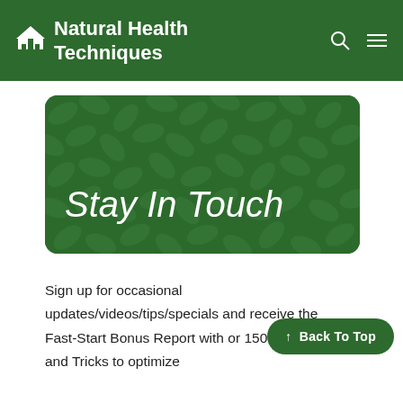Natural Health Techniques
[Figure (illustration): Green leaf pattern banner with 'Stay In Touch' text in white handwritten font]
Sign up for occasional updates/videos/tips/specials and receive the Fast-Start Bonus Report with or 150 Tips and Tricks to optimize